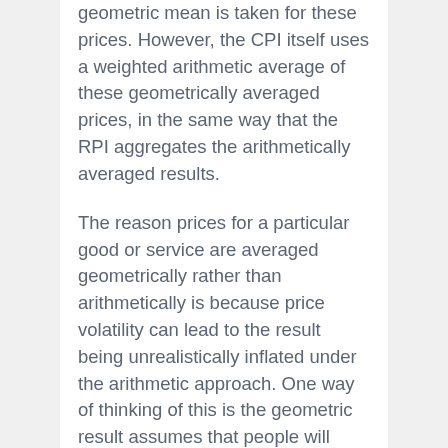geometric mean is taken for these prices. However, the CPI itself uses a weighted arithmetic average of these geometrically averaged prices, in the same way that the RPI aggregates the arithmetically averaged results.
The reason prices for a particular good or service are averaged geometrically rather than arithmetically is because price volatility can lead to the result being unrealistically inflated under the arithmetic approach. One way of thinking of this is the geometric result assumes that people will switch products in response to price